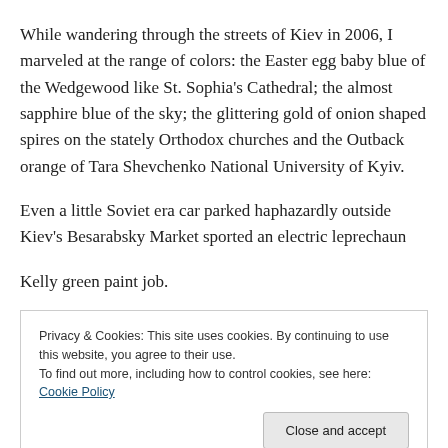While wandering through the streets of Kiev in 2006, I marveled at the range of colors: the Easter egg baby blue of the Wedgewood like St. Sophia's Cathedral; the almost sapphire blue of the sky; the glittering gold of onion shaped spires on the stately Orthodox churches and the Outback orange of Tara Shevchenko National University of Kyiv.
Even a little Soviet era car parked haphazardly outside Kiev's Besarabsky Market sported an electric leprechaun Kelly green paint job.
Privacy & Cookies: This site uses cookies. By continuing to use this website, you agree to their use.
To find out more, including how to control cookies, see here: Cookie Policy